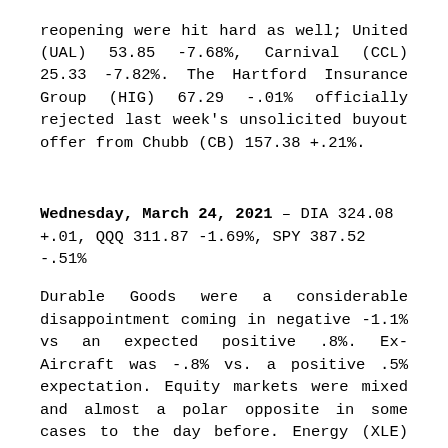reopening were hit hard as well; United (UAL) 53.85 -7.68%, Carnival (CCL) 25.33 -7.82%. The Hartford Insurance Group (HIG) 67.29 -.01% officially rejected last week's unsolicited buyout offer from Chubb (CB) 157.38 +.21%.
Wednesday, March 24, 2021 – DIA 324.08 +.01, QQQ 311.87 -1.69%, SPY 387.52 -.51% Durable Goods were a considerable disappointment coming in negative -1.1% vs an expected positive .8%. Ex- Aircraft was -.8% vs. a positive .5% expectation. Equity markets were mixed and almost a polar opposite in some cases to the day before. Energy (XLE) 49.03 +2.51% bounced from the prior days drubbing. Semiconductor and semi-equipment manufacturers also bounced back, Applied Materials (AMAT) 121.10 +4.06%, ASML Holding